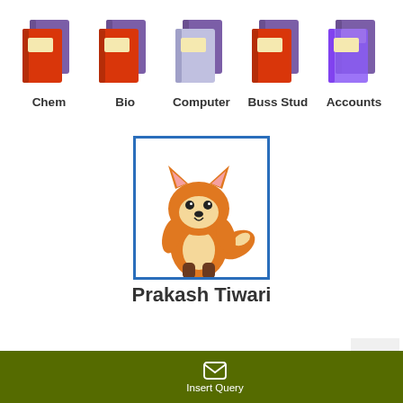[Figure (illustration): Five book icons arranged in a row with labels: Chem, Bio, Computer, Buss Stud, Accounts]
[Figure (illustration): Cartoon fox avatar inside a blue-bordered square box]
Prakash Tiwari
[Figure (illustration): Footer bar with envelope icon and Insert Query text, and a left arrow button on a dark background]
Insert Query